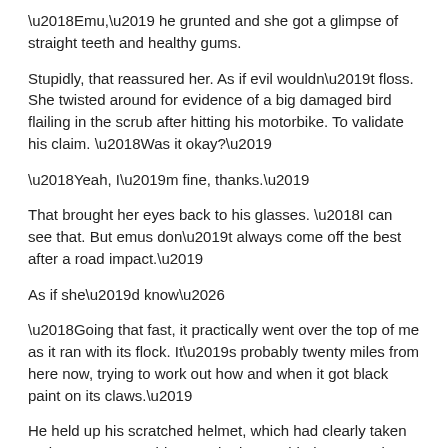‘Emu,’ he grunted and she got a glimpse of straight teeth and healthy gums.
Stupidly, that reassured her. As if evil wouldn’t floss. She twisted around for evidence of a big damaged bird flailing in the scrub after hitting his motorbike. To validate his claim. ‘Was it okay?’
‘Yeah, I’m fine, thanks.’
That brought her eyes back to his glasses. ‘I can see that. But emus don’t always come off the best after a road impact.’
As if she’d know…
‘Going that fast, it practically went over the top of me as it ran with its flock. It’s probably twenty miles from here now, trying to work out how and when it got black paint on its claws.’
He held up his scratched helmet, which had clearly taken an impact. More evidence. She just nodded, not wanting to give an inch more than necessary. He’d probably already summed her up as a bleeding heart over the emu.
One for the prey column.
‘Mi...